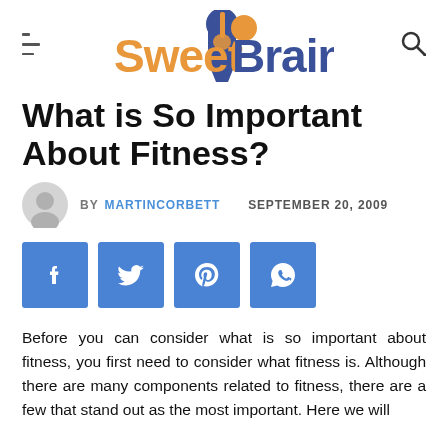SweetBrain
What is So Important About Fitness?
BY MARTINCORBETT   SEPTEMBER 20, 2009
[Figure (infographic): Four social share buttons: Facebook, Twitter, Pinterest, WhatsApp]
Before you can consider what is so important about fitness, you first need to consider what fitness is. Although there are many components related to fitness, there are a few that stand out as the most important. Here we will